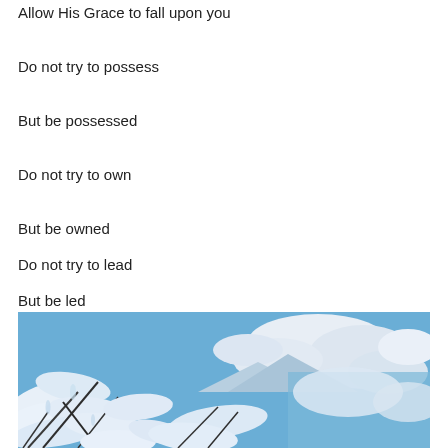Allow His Grace to fall upon you
Do not try to possess
But be possessed
Do not try to own
But be owned
Do not try to lead
But be led
[Figure (photo): Snow-covered tree branches in the foreground with a bright blue sky and white clouds in the background.]